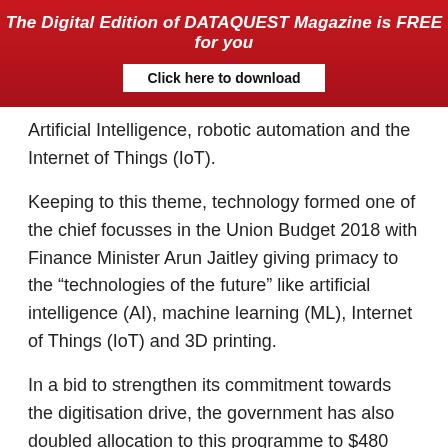The Digital Edition of DATAQUEST Magazine is FREE for you
Click here to download
Artificial Intelligence, robotic automation and the Internet of Things (IoT).
Keeping to this theme, technology formed one of the chief focusses in the Union Budget 2018 with Finance Minister Arun Jaitley giving primacy to the “technologies of the future” like artificial intelligence (AI), machine learning (ML), Internet of Things (IoT) and 3D printing.
In a bid to strengthen its commitment towards the digitisation drive, the government has also doubled allocation to this programme to $480 million (INR 3,073 Cr) in 2018-19, deciding to invest heavily in R&D in technologies su × as AI, digital